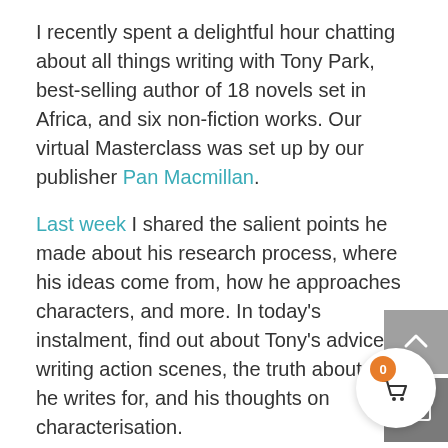I recently spent a delightful hour chatting about all things writing with Tony Park, best-selling author of 18 novels set in Africa, and six non-fiction works. Our virtual Masterclass was set up by our publisher Pan Macmillan.
Last week I shared the salient points he made about his research process, where his ideas come from, how he approaches characters, and more. In today's instalment, find out about Tony's advice on writing action scenes, the truth about who he writes for, and his thoughts on characterisation.
We always tell students, it seems counterintuitive, but instead of rushing through action scenes, you should slow and carry the reader through the details that they experience it second by second. Now